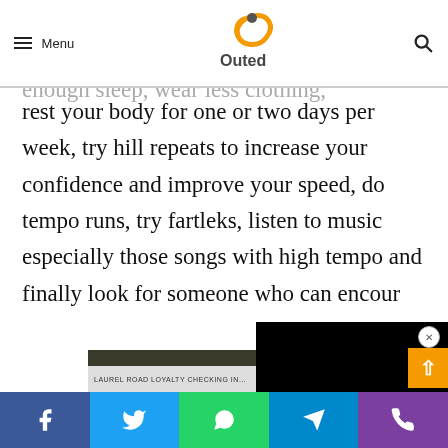Menu | Outed [logo]
Learn how to run properly (the right form and position while running), get enough sleep, wear less clothing, rest your body for one or two days per week, try hill repeats to increase your confidence and improve your speed, do tempo runs, try fartleks, listen to music especially those songs with high tempo and finally look for someone who can encour…
[Figure (screenshot): Advertisement for a writing course showing two children, text 'Where Best-selling Authors Teach Writing', with a CLOSE button, overlaid by a black video player rectangle]
Facebook | Twitter | WhatsApp | Telegram | Phone